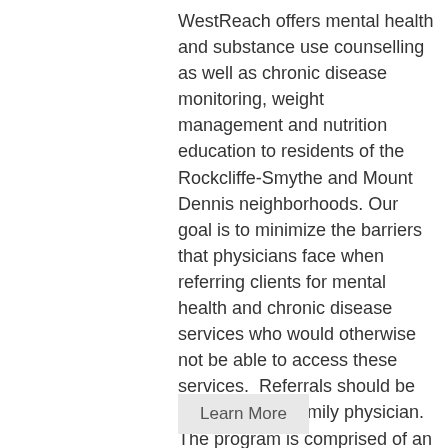WestReach offers mental health and substance use counselling as well as chronic disease monitoring, weight management and nutrition education to residents of the Rockcliffe-Smythe and Mount Dennis neighborhoods. Our goal is to minimize the barriers that physicians face when referring clients for mental health and chronic disease services who would otherwise not be able to access these services.  Referrals should be made by your family physician. The program is comprised of an inter-professional (IP) team designed to meet the various... Continue Reading WestReach
Learn More